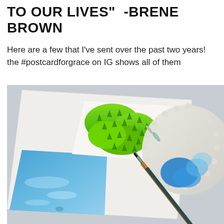TO OUR LIVES" -BRENE BROWN
Here are a few that I've sent over the past two years! the #postcardforgrace on IG shows all of them
[Figure (photo): A watercolor painting postcard showing green trees and blue water/sky, placed next to paintbrushes and a white decorative palette with blue paint, on a gray surface.]